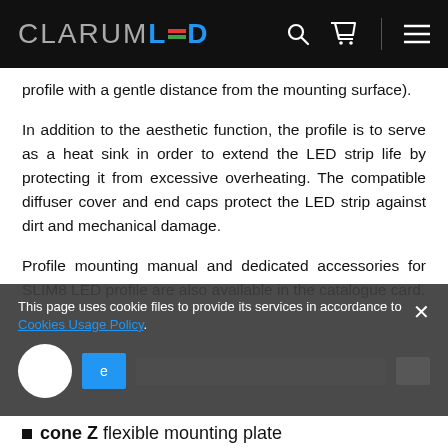CLARUM LED
profile with a gentle distance from the mounting surface).
In addition to the aesthetic function, the profile is to serve as a heat sink in order to extend the LED strip life by protecting it from excessive overheating. The compatible diffuser cover and end caps protect the LED strip against dirt and mechanical damage.
Profile mounting manual and dedicated accessories for SLIM8 LED profile are also available in the catalogue card.
[Figure (screenshot): Cookie consent banner with text: 'This page uses cookie files to provide its services in accordance to Cookies Usage Policy.' with a close button, a white circle, a blue accept button, and blurred content.]
cone Z flexible mounting plate